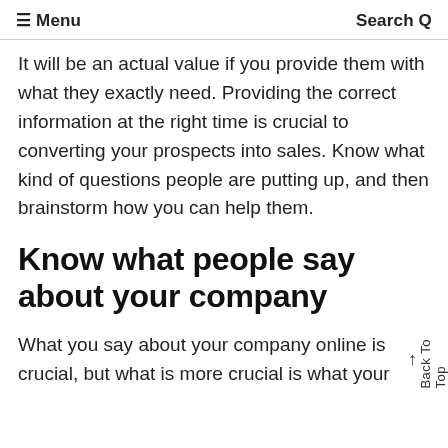≡ Menu    Search Q
It will be an actual value if you provide them with what they exactly need. Providing the correct information at the right time is crucial to converting your prospects into sales. Know what kind of questions people are putting up, and then brainstorm how you can help them.
Know what people say about your company
What you say about your company online is crucial, but what is more crucial is what your